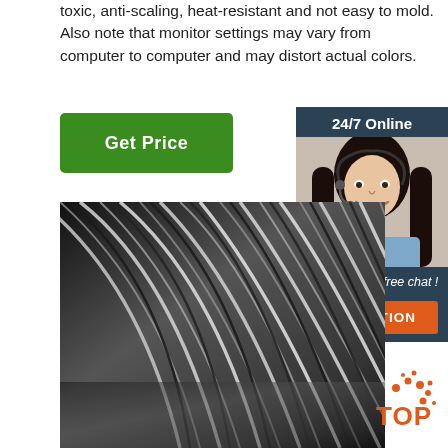toxic, anti-scaling, heat-resistant and not easy to mold. Also note that monitor settings may vary from computer to computer and may distort actual colors.
[Figure (other): Green 'Get Price' button]
[Figure (other): 24/7 Online chat widget with woman wearing headset, 'Click here for free chat!' text, and orange QUOTATION button]
[Figure (photo): Close-up photo of bundled metallic/steel wire or cable, showing dark and light alternating strands in a circular pattern]
[Figure (logo): Orange 'TOP' badge in bottom right corner]